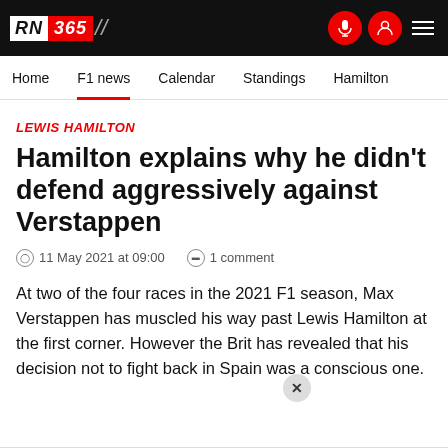RN 365 — navigation header
Home | F1 news | Calendar | Standings | Hamilton
LEWIS HAMILTON
Hamilton explains why he didn't defend aggressively against Verstappen
11 May 2021 at 09:00   1 comment
At two of the four races in the 2021 F1 season, Max Verstappen has muscled his way past Lewis Hamilton at the first corner. However the Brit has revealed that his decision not to fight back in Spain was a conscious one.